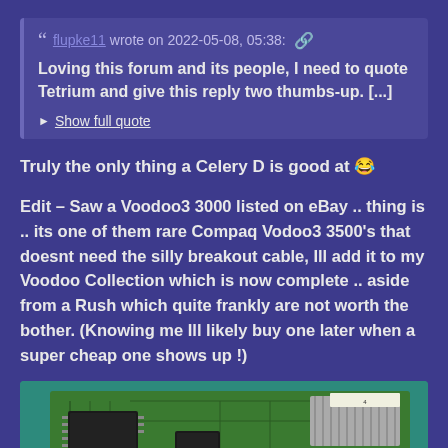flupke11 wrote on 2022-05-08, 05:38: [link] Loving this forum and its people, I need to quote Tetrium and give this reply two thumbs-up. [...] Show full quote
Truly the only thing a Celery D is good at 😂
Edit – Saw a Voodoo3 3000 listed on eBay .. thing is .. its one of them rare Compaq Vodoo3 3500's that doesnt need the silly breakout cable, Ill add it to my Voodoo Collection which is now complete .. aside from a Rush which quite frankly are not worth the bother. (Knowing me Ill likely buy one later when a super cheap one shows up !)
[Figure (photo): Photo of a green circuit board (likely a Voodoo3 3000 graphics card) on a teal background, showing chips, heatsinks, and PCB traces.]